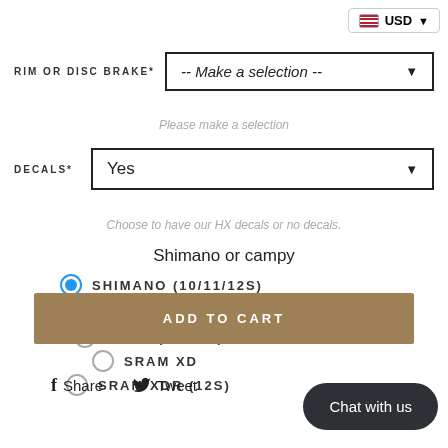USD
RIM OR DISC BRAKE* -- Make a selection --
Please make a selection
DECALS* Yes
Choose to have our HX decals or no decals.
Shimano or campy
SHIMANO (10/11/12S)
CAMPY (10/11/12/13S)
SRAM (10/11S)
SRAM XD
SRAM XDR (12S)
ADD TO CART
Share   Tweet
Chat with us